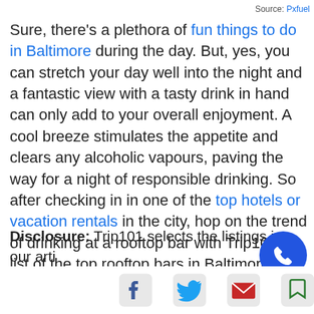Source: Pxfuel
Sure, there's a plethora of fun things to do in Baltimore during the day. But, yes, you can stretch your day well into the night and a fantastic view with a tasty drink in hand can only add to your overall enjoyment. A cool breeze stimulates the appetite and clears any alcoholic vapours, paving the way for a night of responsible drinking. So after checking in in one of the top hotels or vacation rentals in the city, hop on the trend of drinking at a rooftop bar with Trip101's list of the top rooftop bars in Baltimore, Maryland. Let us know if you have any other recommendations and we might just see you [Explore Baltimore button]
Disclosure: Trip101 selects the listings in our artic indeper ntain
affilia...